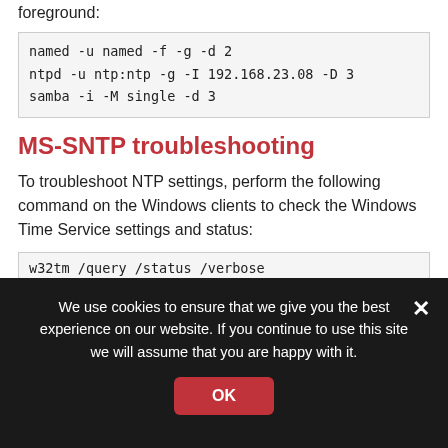foreground:
named -u named -f -g -d 2
ntpd -u ntp:ntp -g -I 192.168.23.08 -D 3
samba -i -M single -d 3
MS-SNTP troubleshooting
To troubleshoot NTP settings, perform the following command on the Windows clients to check the Windows Time Service settings and status:
w32tm /query /status /verbose
You should obtain an output like the following:
Leap Indicator: 0(no warning)
We use cookies to ensure that we give you the best experience on our website. If you continue to use this site we will assume that you are happy with it.